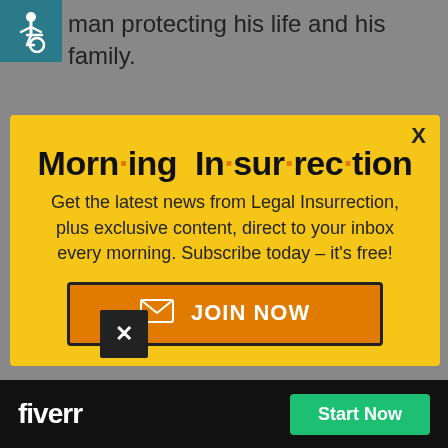[Figure (illustration): Wheelchair accessibility icon on teal/dark cyan background square]
man protecting his life and his family.
Whereby he got his own
Morn·ing In·sur·rec·tion
Get the latest news from Legal Insurrection, plus exclusive content, direct to your inbox every morning. Subscribe today – it's free!
JOIN NOW
o activity You and
those must exchange
top
/sarc off
[Figure (logo): Fiverr logo with Start Now button on black bar]